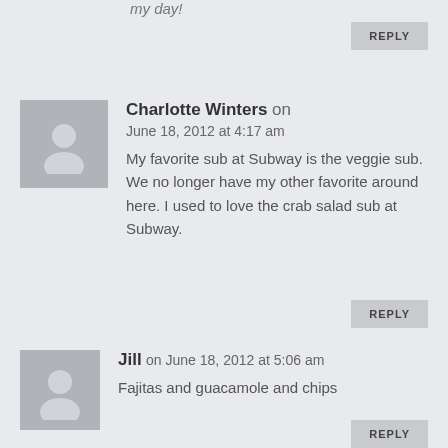my day!
REPLY
Charlotte Winters on June 18, 2012 at 4:17 am
My favorite sub at Subway is the veggie sub. We no longer have my other favorite around here. I used to love the crab salad sub at Subway.
REPLY
Jill on June 18, 2012 at 5:06 am
Fajitas and guacamole and chips
REPLY